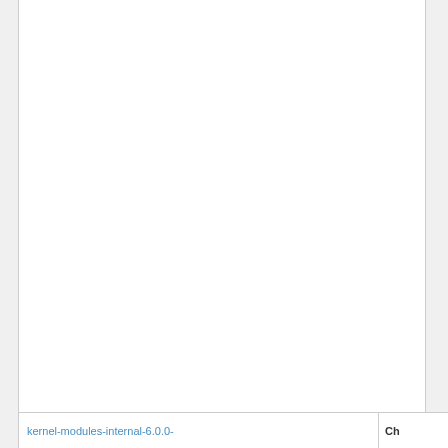kernel-modules-internal-6.0.0-
Ch